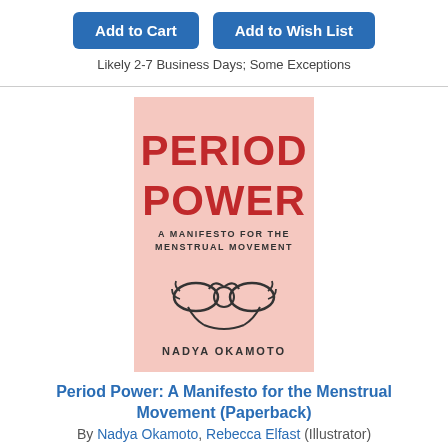[Figure (other): Two buttons: Add to Cart and Add to Wish List (blue rounded buttons)]
Likely 2-7 Business Days; Some Exceptions
[Figure (illustration): Book cover: Period Power - A Manifesto for the Menstrual Movement by Nadya Okamoto. Pink background with red bold title text and illustration of two hands forming a heart shape.]
Period Power: A Manifesto for the Menstrual Movement (Paperback)
By Nadya Okamoto, Rebecca Elfast (Illustrator)
$12.99
[Figure (other): Two buttons: Add to Cart and Add to Wish List (blue rounded buttons)]
Likely 2-7 Business Days; Some Exceptions
[Figure (photo): Partial photo of a person with dark hair against a purple/blue background]